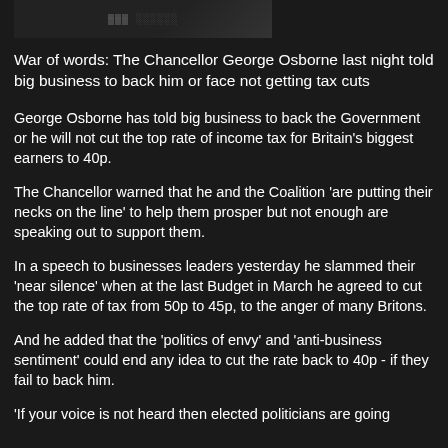[Figure (photo): Dark screenshot or image at the top of the page, appears to show a digital display or screen]
War of words: The Chancellor George Osborne last night told big business to back him or face not getting tax cuts
George Osborne has told big business to back the Government or he will not cut the top rate of income tax for Britain's biggest earners to 40p.
The Chancellor warned that he and the Coalition 'are putting their necks on the line' to help them prosper but not enough are speaking out to support them.
In a speech to businesses leaders yesterday he slammed their 'near silence' when at the last Budget in March he agreed to cut the top rate of tax from 50p to 45p, to the anger of many Britons.
And he added that the 'politics of envy' and 'anti-business sentiment' could end any idea to cut the rate back to 40p - if they fail to back him.
'If your voice is not heard then elected politicians are going